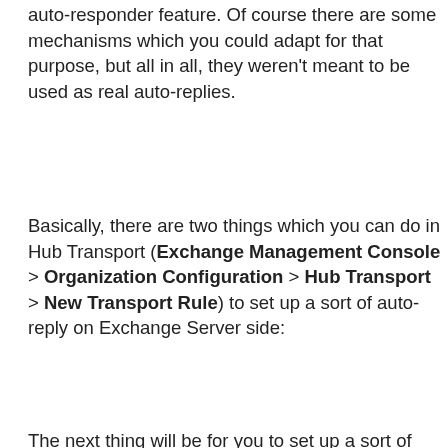auto-responder feature. Of course there are some mechanisms which you could adapt for that purpose, but all in all, they weren't meant to be used as real auto-replies.
Basically, there are two things which you can do in Hub Transport (Exchange Management Console > Organization Configuration > Hub Transport > New Transport Rule) to set up a sort of auto-reply on Exchange Server side:
1 ... re...
o ...
2 ... A... T... c...
[Figure (screenshot): Cookie consent overlay dialog with text about cookie usage and an OK button. Text reads: 'This website uses cookies for web analytics and marketing purposes. You can block saving cookies to your hard drive at any time, by changing the settings of your web browser. By continuing to use this website without disabling cookies in your web browser you agree to saving cookies to your hard drive. Learn more in our Privacy Policy.' with a blue OK button.]
The next thing...